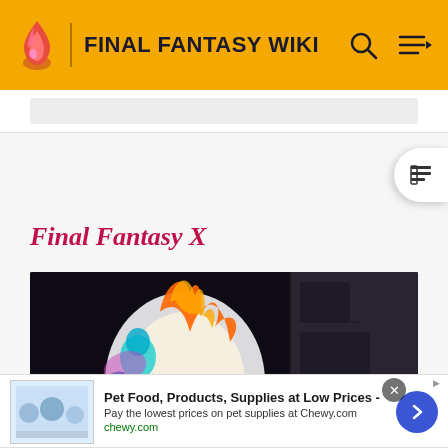FINAL FANTASY WIKI
Final Fantasy X
[Figure (screenshot): Final Fantasy X gameplay screenshot showing a bright magical explosion or summon effect with a creature with blue hands visible, and a damage number 6170 displayed on screen. The scene is set in a dark stone dungeon environment.]
Pet Food, Products, Supplies at Low Prices - Pay the lowest prices on pet supplies at Chewy.com chewy.com